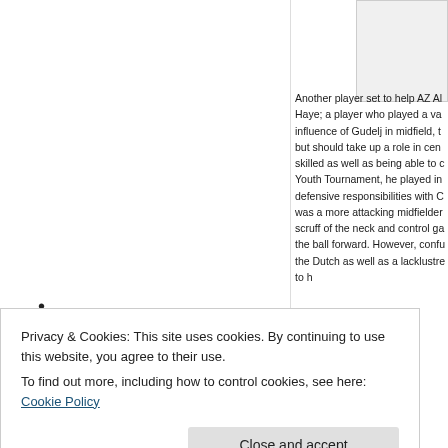[Figure (other): White left column area with a bullet point visible near the bottom left]
[Figure (other): Small light gray/white rectangle box in the top-right corner]
Another player set to help AZ Al... Haye; a player who played a va... influence of Gudelj in midfield, t... but should take up a role in cen... skilled as well as being able to c... Youth Tournament, he played in... defensive responsibilities with C... was a more attacking midfielder... scruff of the neck and control ga... the ball forward. However, confu... the Dutch as well as a lacklustre... to h...
Privacy & Cookies: This site uses cookies. By continuing to use this website, you agree to their use.
To find out more, including how to control cookies, see here: Cookie Policy
Close and accept